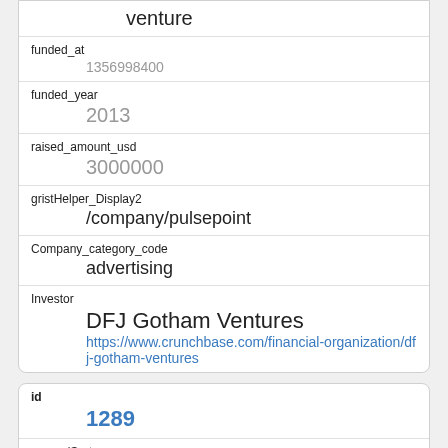| venture |  |
| funded_at | 1356998400 |
| funded_year | 2013 |
| raised_amount_usd | 3000000 |
| gristHelper_Display2 | /company/pulsepoint |
| Company_category_code | advertising |
| Investor | DFJ Gotham Ventures
https://www.crunchbase.com/financial-organization/dfj-gotham-ventures |
| id | 1289 |
| manualSort | 1289 |